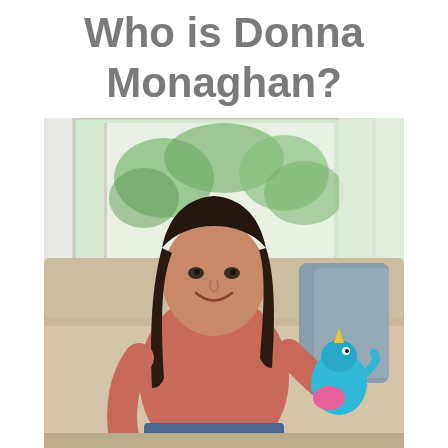Who is Donna Monaghan?
[Figure (photo): A smiling dark-haired woman sitting on a beige sofa, wearing a coral/salmon short-sleeve top and jeans, holding a colorful plush toy (blue and pink stuffed animal). Behind her is a large bright window with green foliage visible outside. There are grey-blue cushions on the sofa.]